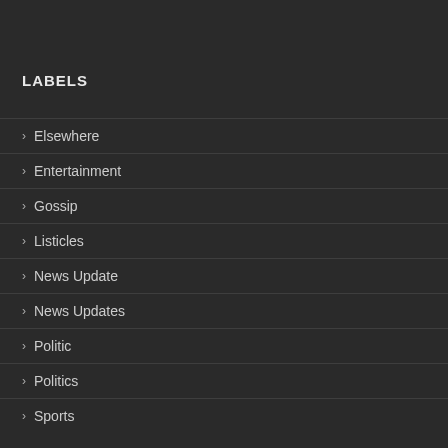LABELS
Elsewhere
Entertainment
Gossip
Listicles
News Update
News Updates
Politic
Politics
Sports